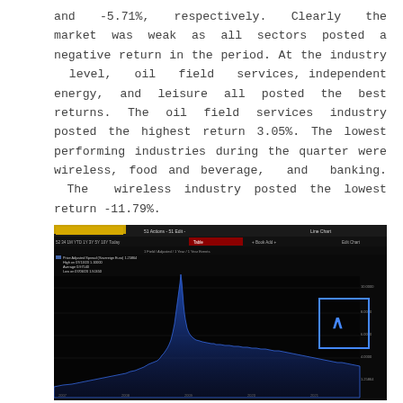and -5.71%, respectively. Clearly the market was weak as all sectors posted a negative return in the period. At the industry level, oil field services, independent energy, and leisure all posted the best returns. The oil field services industry posted the highest return 3.05%. The lowest performing industries during the quarter were wireless, food and beverage, and banking. The wireless industry posted the lowest return -11.79%.
[Figure (continuous-plot): Bloomberg line chart screenshot showing price/value over time with a dark background. A large spike is visible in the middle of the chart, with a blue area chart. Axis labels and legend visible. Y-axis shows values around 2.00000 to 10.00000. An overlaid blue rectangle with a caret symbol appears on the right side.]